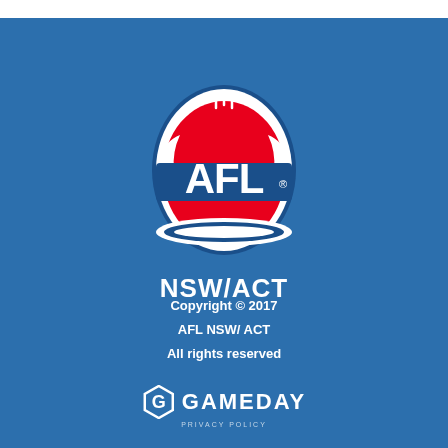[Figure (logo): AFL NSW/ACT logo: oval-shaped red and white logo with AFL text in white letters on red background with blue outline, white oval border, football seams at top. Below the oval logo is white bold text reading NSW/ACT]
Copyright © 2017
AFL NSW/ ACT
All rights reserved
[Figure (logo): GAMEDAY logo: white hexagonal G icon followed by white bold text GAMEDAY in uppercase, with PRIVACY POLICY text below in small white letters]